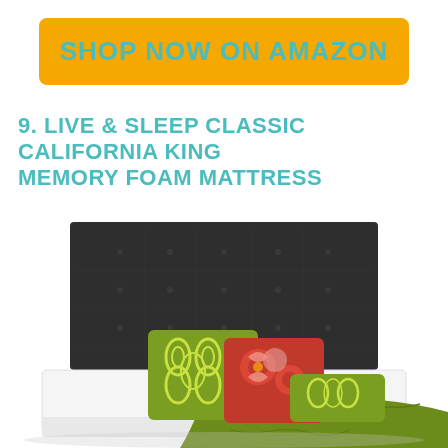SHOP NOW ON AMAZON
9. LIVE & SLEEP CLASSIC CALIFORNIA KING MEMORY FOAM MATTRESS
[Figure (photo): Photo of a bed with a dark charcoal tufted headboard, white memory foam mattress, green patterned throw pillow, red floral pillow, small green patterned lumbar pillow, and a green knit throw blanket draped over the foot of the bed.]